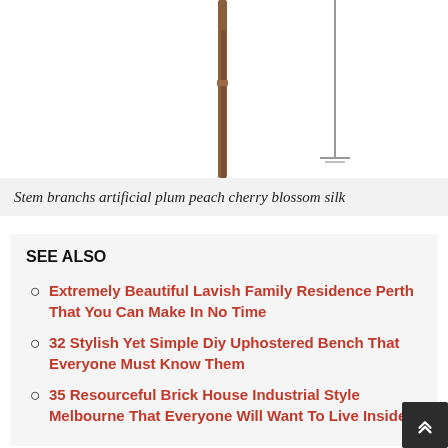[Figure (photo): Partial view of two stem branches - one brown wooden branch and one thin metal/grey branch against white background]
Stem branchs artificial plum peach cherry blossom silk
SEE ALSO
Extremely Beautiful Lavish Family Residence Perth That You Can Make In No Time
32 Stylish Yet Simple Diy Uphostered Bench That Everyone Must Know Them
35 Resourceful Brick House Industrial Style Melbourne That Everyone Will Want To Live Inside